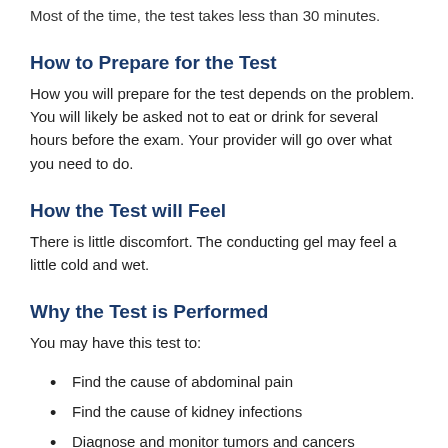Most of the time, the test takes less than 30 minutes.
How to Prepare for the Test
How you will prepare for the test depends on the problem. You will likely be asked not to eat or drink for several hours before the exam. Your provider will go over what you need to do.
How the Test will Feel
There is little discomfort. The conducting gel may feel a little cold and wet.
Why the Test is Performed
You may have this test to:
Find the cause of abdominal pain
Find the cause of kidney infections
Diagnose and monitor tumors and cancers